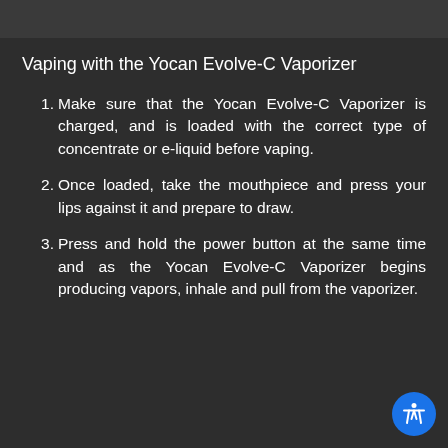Vaping with the Yocan Evolve-C Vaporizer
Make sure that the Yocan Evolve-C Vaporizer is charged, and is loaded with the correct type of concentrate or e-liquid before vaping.
Once loaded, take the mouthpiece and press your lips against it and prepare to draw.
Press and hold the power button at the same time and as the Yocan Evolve-C Vaporizer begins producing vapors, inhale and pull from the vaporizer.